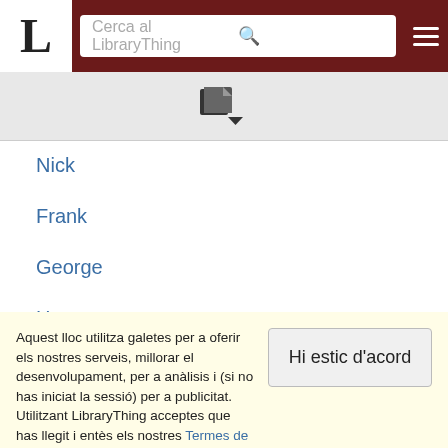L — Cerca al LibraryThing
[Figure (logo): Book/document icon with dropdown arrow]
Nick
Frank
George
Henry
Lucifer
(mostra tots els 5153 ítems)
Aquest lloc utilitza galetes per a oferir els nostres serveis, millorar el desenvolupament, per a anàlisis i (si no has iniciat la sessió) per a publicitat. Utilitzant LibraryThing acceptes que has llegit i entès els nostres Termes de servei i política de privacitat. L'ús que facis del lloc i dels seus serveis està subjecte a aquestes polítiques i termes.